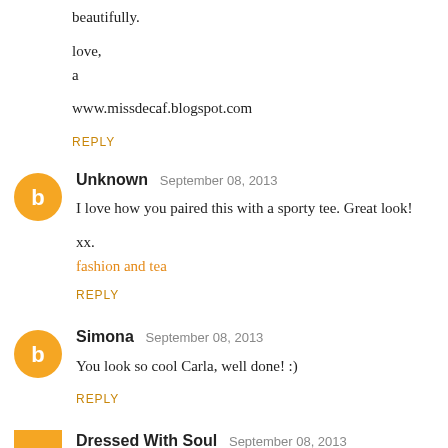beautifully.
love,
a
www.missdecaf.blogspot.com
REPLY
Unknown  September 08, 2013
I love how you paired this with a sporty tee. Great look!
xx.
fashion and tea
REPLY
Simona  September 08, 2013
You look so cool Carla, well done! :)
REPLY
Dressed With Soul  September 08, 2013